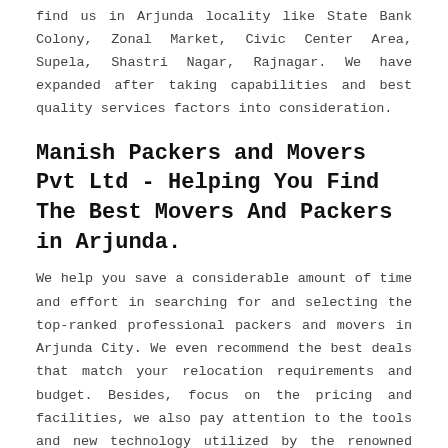find us in Arjunda locality like State Bank Colony, Zonal Market, Civic Center Area, Supela, Shastri Nagar, Rajnagar. We have expanded after taking capabilities and best quality services factors into consideration.
Manish Packers and Movers Pvt Ltd - Helping You Find The Best Movers And Packers in Arjunda.
We help you save a considerable amount of time and effort in searching for and selecting the top-ranked professional packers and movers in Arjunda City. We even recommend the best deals that match your relocation requirements and budget. Besides, focus on the pricing and facilities, we also pay attention to the tools and new technology utilized by the renowned packers and movers in Arjunda for transporting your valuable goods. Our primary concern is to help you choose packers and movers that transport your goods in the